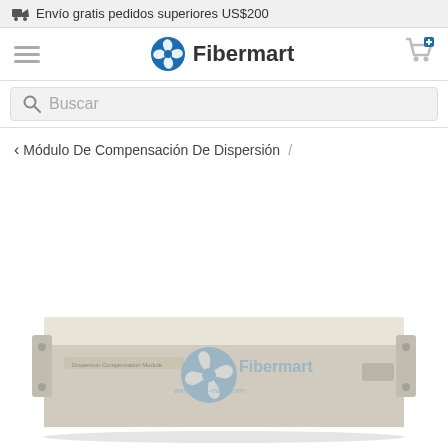🚚 Envío gratis pedidos superiores US$200
[Figure (logo): Fibermart logo with blue gear/fan icon and bold text 'Fibermart']
Buscar
< Módulo De Compensación De Dispersión /
[Figure (photo): Photo of a 1U rack-mounted Dispersion Compensation Module (beige/cream colored) with Fibermart logo watermark and www.fiber-mart.com URL]